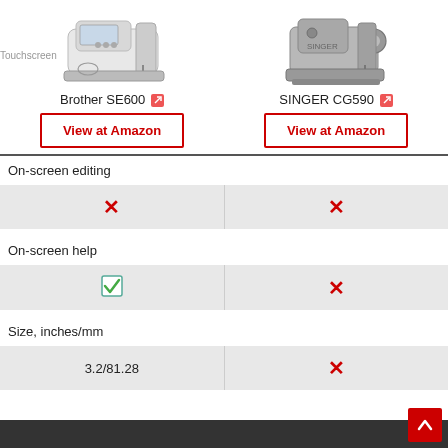[Figure (photo): Photo of Brother SE600 sewing machine]
[Figure (photo): Photo of SINGER CG590 sewing machine]
Brother SE600 [external link icon]
SINGER CG590 [external link icon]
View at Amazon
View at Amazon
|  | Brother SE600 | SINGER CG590 |
| --- | --- | --- |
| On-screen editing | ✗ | ✗ |
| On-screen help | ✓ | ✗ |
| Size, inches/mm | 3.2/81.28 | ✗ |